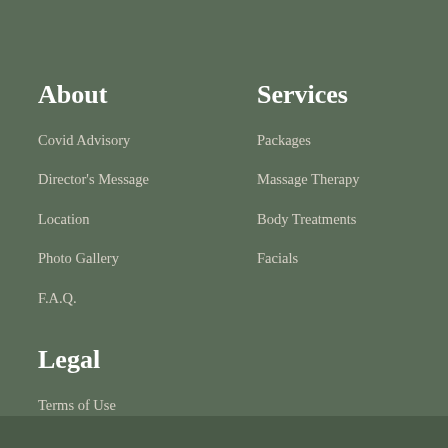About
Covid Advisory
Director's Message
Location
Photo Gallery
F.A.Q.
Services
Packages
Massage Therapy
Body Treatments
Facials
Legal
Terms of Use
Privacy Policy
Cancellation Policy